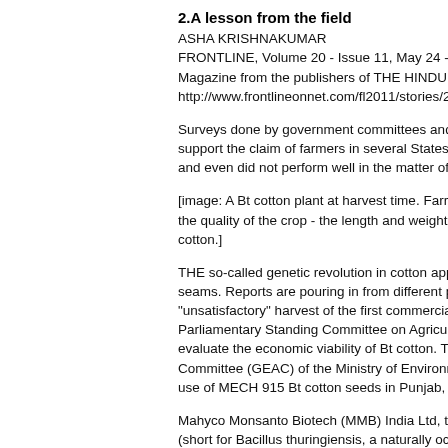2.A lesson from the field
ASHA KRISHNAKUMAR
FRONTLINE, Volume 20 - Issue 11, May 24 -
Magazine from the publishers of THE HINDU
http://www.frontlineonnet.com/fl2011/stories/2
Surveys done by government committees and support the claim of farmers in several States and even did not perform well in the matter of
[image: A Bt cotton plant at harvest time. Farr the quality of the crop - the length and weight cotton.]
THE so-called genetic revolution in cotton app seams. Reports are pouring in from different p "unsatisfactory" harvest of the first commercia Parliamentary Standing Committee on Agricu evaluate the economic viability of Bt cotton. T Committee (GEAC) of the Ministry of Environm use of MECH 915 Bt cotton seeds in Punjab,
Mahyco Monsanto Biotech (MMB) India Ltd, t (short for Bacillus thuringiensis, a naturally oc control Lepidopteran insects because of a tox country, claimed recently that the "in-built pro major cotton pest) in the Bt cotton seed had n cent and, consequently, led to yield gains of 3